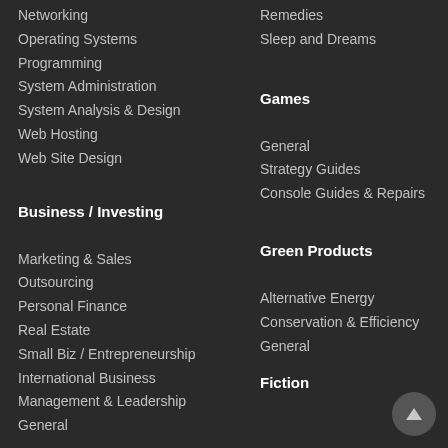Networking
Operating Systems
Programming
System Administration
System Analysis & Design
Web Hosting
Web Site Design
Business / Investing
Marketing & Sales
Outsourcing
Personal Finance
Real Estate
Small Biz / Entrepreneurship
International Business
Management & Leadership
General
Remedies
Sleep and Dreams
Games
General
Strategy Guides
Console Guides & Repairs
Green Products
Alternative Energy
Conservation & Efficiency
General
Fiction